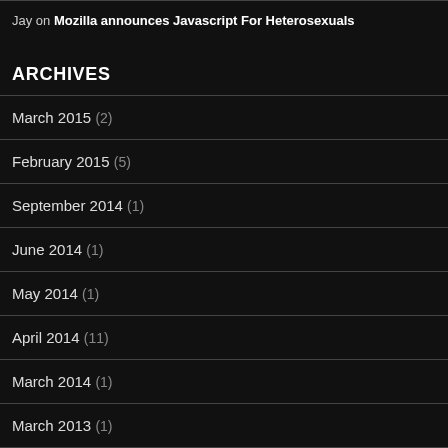Jay on Mozilla announces Javascript For Heterosexuals
ARCHIVES
March 2015 (2)
February 2015 (5)
September 2014 (1)
June 2014 (1)
May 2014 (1)
April 2014 (11)
March 2014 (1)
March 2013 (1)
December 2012 (2)